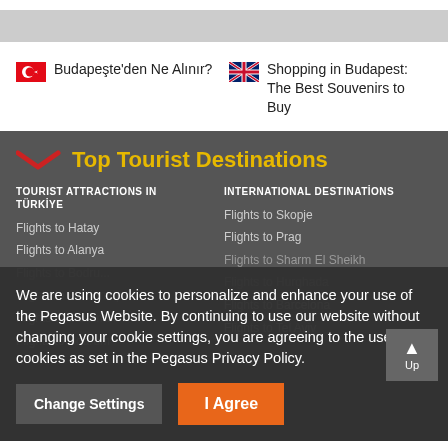[Figure (screenshot): Gray banner image at top]
Budapeste'den Ne Alınır?
Shopping in Budapest: The Best Souvenirs to Buy
Top Tourist Destinations
TOURIST ATTRACTIONS IN TÜRKİYE
INTERNATIONAL DESTINATİONS
Flights to Hatay
Flights to Skopje
Flights to Alanya
Flights to Prag
Flights to Bodrum (partially visible)
Flights to Sharm El Sheikh
Flights to Gaziantep
Flights to Hurghada
Flights to Dalaman
Flights to Barcelona
Flights to Bodrum
Flights to Tel Aviv
We are using cookies to personalize and enhance your use of the Pegasus Website. By continuing to use our website without changing your cookie settings, you are agreeing to the use of cookies as set in the Pegasus Privacy Policy.
Change Settings
I Agree